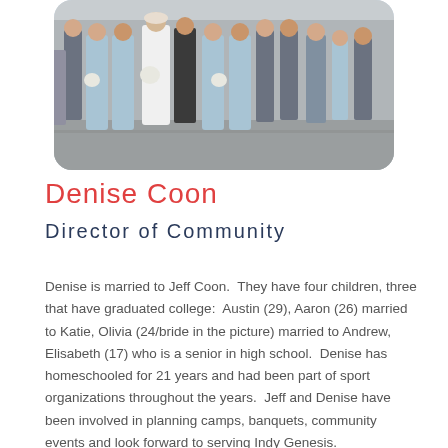[Figure (photo): Wedding party group photo showing bride in white dress flanked by bridesmaids in light blue dresses and groomsmen in grey suits]
Denise Coon
Director of Community
Denise is married to Jeff Coon.  They have four children, three that have graduated college:  Austin (29), Aaron (26) married to Katie, Olivia (24/bride in the picture) married to Andrew, Elisabeth (17) who is a senior in high school.  Denise has homeschooled for 21 years and had been part of sport organizations throughout the years.  Jeff and Denise have been involved in planning camps, banquets, community events and look forward to serving Indy Genesis.